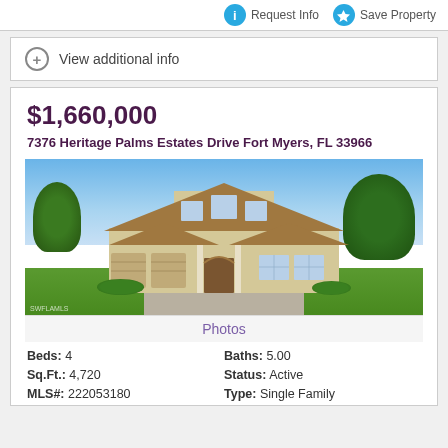Request Info   Save Property
View additional info
$1,660,000
7376 Heritage Palms Estates Drive Fort Myers, FL 33966
[Figure (photo): Two-story beige stucco luxury home with tile roof, three-car garage, arched entry, and landscaped yard under blue sky.]
Photos
Beds: 4   Baths: 5.00   Sq.Ft.: 4,720   Status: Active   MLS#: 222053180   Type: Single Family